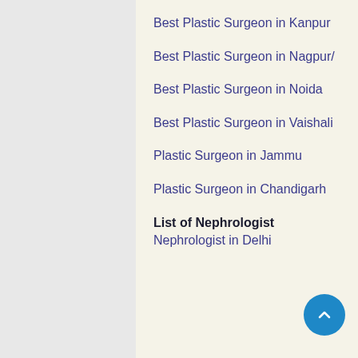Best Plastic Surgeon in Kanpur
Best Plastic Surgeon in Nagpur/
Best Plastic Surgeon in Noida
Best Plastic Surgeon in Vaishali
Plastic Surgeon in Jammu
Plastic Surgeon in Chandigarh
List of Nephrologist
Nephrologist in Delhi